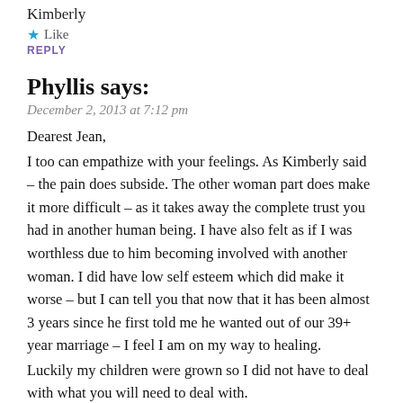Kimberly
★ Like
REPLY
Phyllis says:
December 2, 2013 at 7:12 pm
Dearest Jean,
I too can empathize with your feelings. As Kimberly said – the pain does subside. The other woman part does make it more difficult – as it takes away the complete trust you had in another human being. I have also felt as if I was worthless due to him becoming involved with another woman. I did have low self esteem which did make it worse – but I can tell you that now that it has been almost 3 years since he first told me he wanted out of our 39+ year marriage – I feel I am on my way to healing.
Luckily my children were grown so I did not have to deal with what you will need to deal with.